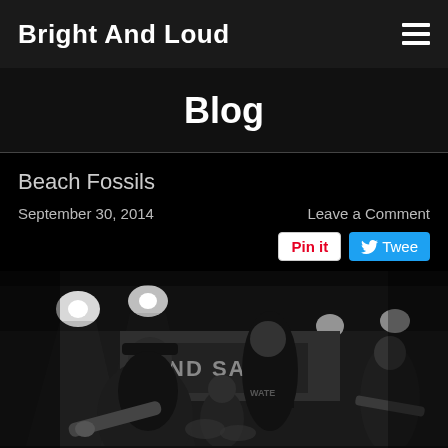Bright And Loud
Blog
Beach Fossils
September 30, 2014
Leave a Comment
Pin it  Tweet
[Figure (photo): Black and white concert photo of Beach Fossils band performing on stage. Multiple musicians visible including a guitarist in the foreground with long hair and hat, a vocalist in a black t-shirt, a drummer in background, and another guitarist on the right. Stage banner partially visible reading 'ND SAO'. Stage lights visible overhead.]